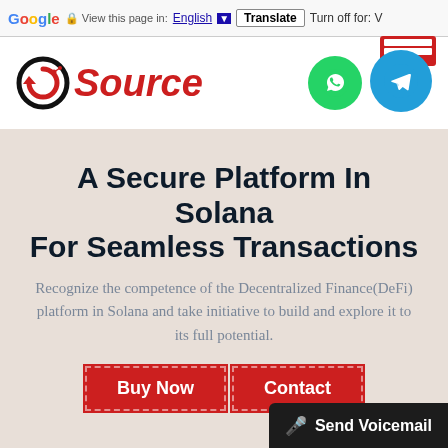Google  View this page in: English  Translate  Turn off for: V
[Figure (logo): CSource logo with circular arrow icon and red italic 'Source' text]
[Figure (illustration): WhatsApp green circle icon and Telegram blue circle icon with red background box]
A Secure Platform In Solana For Seamless Transactions
Recognize the competence of the Decentralized Finance(DeFi) platform in Solana and take initiative to build and explore it to its full potential.
Buy Now   Contact
Send Voicemail